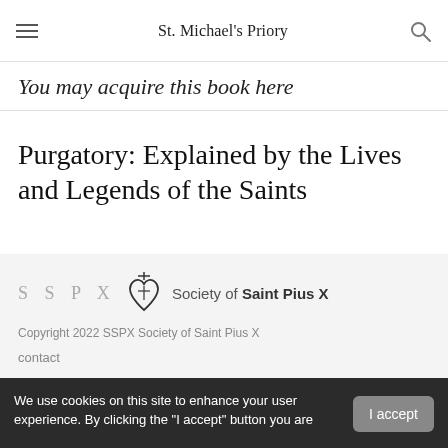St. Michael's Priory
You may acquire this book here
Purgatory: Explained by the Lives and Legends of the Saints
[Figure (logo): SSPX Society of Saint Pius X logo with heart and cross emblem]
Copyright 2022 SSPX Society of Saint Pius X
contact
We use cookies on this site to enhance your user experience. By clicking the "I accept" button you are